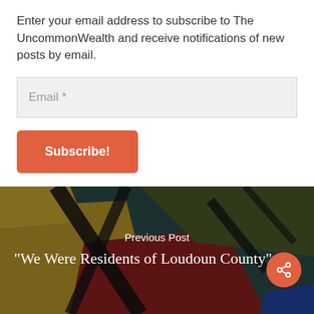Enter your email address to subscribe to The UncommonWealth and receive notifications of new posts by email.
Email *
Subscribe!
[Figure (photo): Colorful abstract artwork with yellow, red, dark teal and black shapes forming a background for the navigation area]
Previous Post
“We Were Residents of Loudoun County”